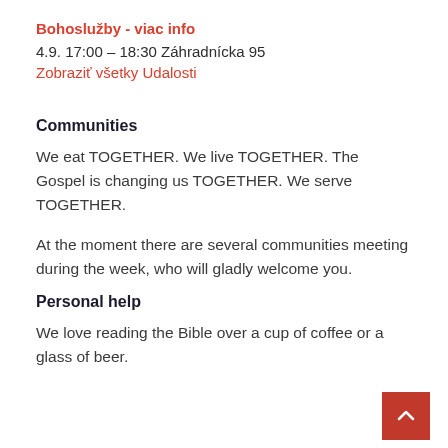Bohoslužby - viac info
4.9. 17:00 – 18:30 Záhradnícka 95
Zobraziť všetky Udalosti
Communities
We eat TOGETHER. We live TOGETHER. The Gospel is changing us TOGETHER. We serve TOGETHER.
At the moment there are several communities meeting during the week, who will gladly welcome you.
Personal help
We love reading the Bible over a cup of coffee or a glass of beer.